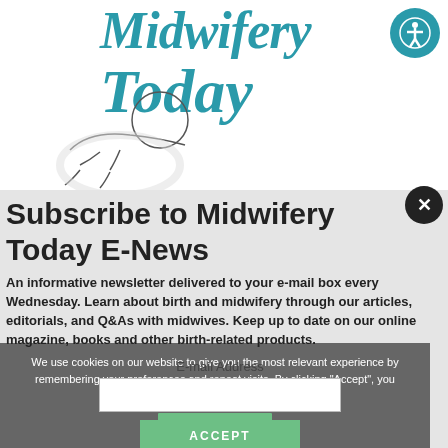[Figure (screenshot): Midwifery Today website screenshot showing logo with teal script text 'Midwifery Today', baby illustration, and website navigation elements]
[Figure (screenshot): Modal popup dialog for subscribing to Midwifery Today E-News with email input field and subscribe button]
Subscribe to Midwifery Today E-News
An informative newsletter delivered to your e-mail box every Wednesday. Learn about birth and midwifery through our articles, editorials, and Q&As with midwives. Keep up to date on our online magazine, books and other birth-related products.
We use cookies on our website to give you the most relevant experience by remembering your preferences and repeat visits. By clicking "Accept", you consent to the use of ALL the cookies.